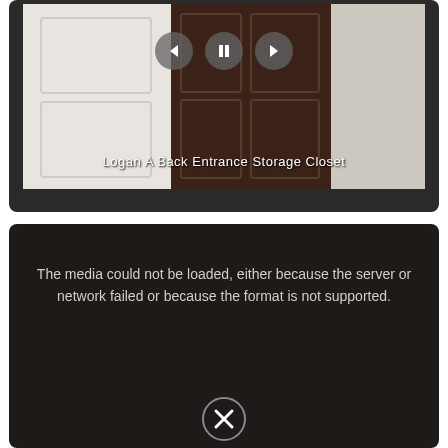[Figure (screenshot): Video player showing a door/closet image with back/pause/forward controls and label 'Logan A Back Entrance Storage Closet']
Logan A Back Entrance Storage Closet
[Figure (screenshot): Dark video player panel showing error message: 'The media could not be loaded, either because the server or network failed or because the format is not supported.' with an X close button at the bottom.]
The media could not be loaded, either because the server or network failed or because the format is not supported.